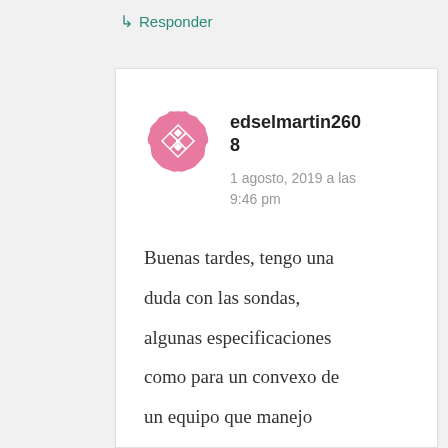↳ Responder
[Figure (illustration): Pink decorative avatar icon with diamond/cross pattern]
edselmartin2608
1 agosto, 2019 a las 9:46 pm
Buenas tardes, tengo una duda con las sondas, algunas especificaciones como para un convexo de un equipo que manejo viene con Frecuencia de